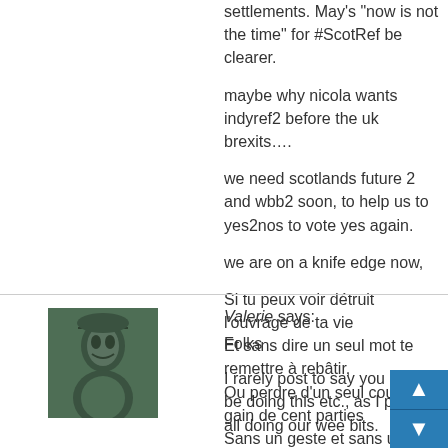settlements. May's “now is not the time” for #ScotRef be clearer.
maybe why nicola wants indyref2 before the uk brexits….
we need scotlands future 2 and wbb2 soon, to help us to yes2nos to vote yes again.
we are on a knife edge now,
Si tu peux voir détruit l’ouvrage de ta vie
Et sans dire un seul mot te remettre à rebâtir,
Ou perdre d’un seul coup le gain de cent parties
Sans un geste et sans un soupir ;
31 March, 2017 at 2:25 pm
Valerie says:
Folks
I rarely post to say you should be doing this etc., as I pres all doing our wee bits.
BUT
Can you give some thought to the media, and tho give focus to media outlets, and leave memes, fa